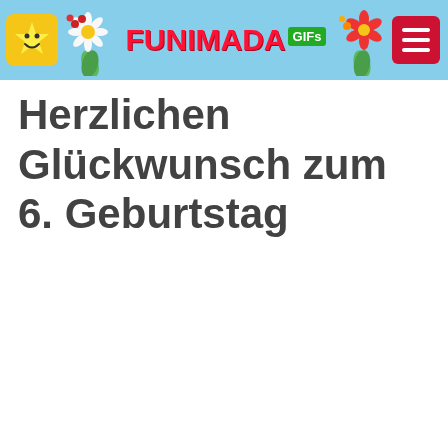FUNIMADA GIFs
Herzlichen Glückwunsch zum 6. Geburtstag